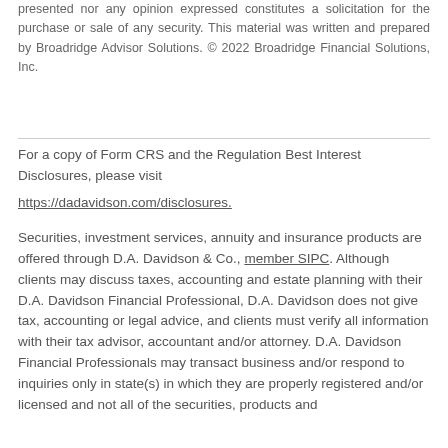presented nor any opinion expressed constitutes a solicitation for the purchase or sale of any security. This material was written and prepared by Broadridge Advisor Solutions. © 2022 Broadridge Financial Solutions, Inc.
For a copy of Form CRS and the Regulation Best Interest Disclosures, please visit https://dadavidson.com/disclosures.
Securities, investment services, annuity and insurance products are offered through D.A. Davidson & Co., member SIPC. Although clients may discuss taxes, accounting and estate planning with their D.A. Davidson Financial Professional, D.A. Davidson does not give tax, accounting or legal advice, and clients must verify all information with their tax advisor, accountant and/or attorney. D.A. Davidson Financial Professionals may transact business and/or respond to inquiries only in state(s) in which they are properly registered and/or licensed and not all of the securities, products and